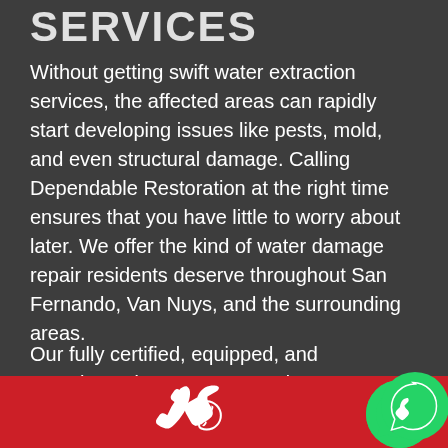SERVICES
Without getting swift water extraction services, the affected areas can rapidly start developing issues like pests, mold, and even structural damage. Calling Dependable Restoration at the right time ensures that you have little to worry about later. We offer the kind of water damage repair residents deserve throughout San Fernando, Van Nuys, and the surrounding areas.
Our fully certified, equipped, and experienced experts are ready to assess the damage and be available to help you throughout the whole process. We'll even take on the most...
[Figure (illustration): Red bar at bottom with white phone handset icon and WhatsApp green bubble icon in the bottom right corner]